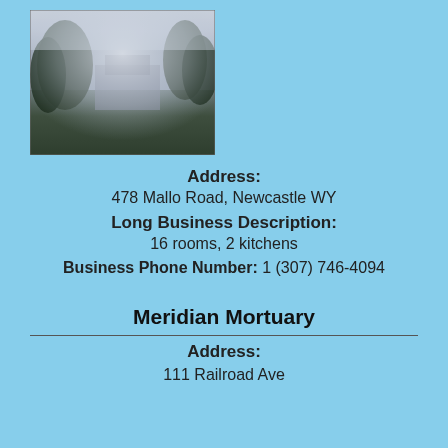[Figure (photo): Misty outdoor photo showing a building among trees with foggy atmosphere]
Address:
478 Mallo Road, Newcastle WY
Long Business Description:
16 rooms, 2 kitchens
Business Phone Number: 1 (307) 746-4094
Meridian Mortuary
Address:
111 Railroad Ave